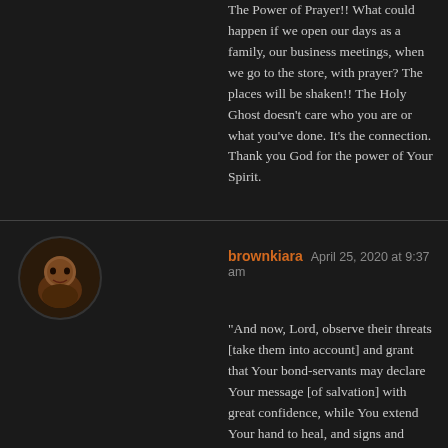The Power of Prayer!! What could happen if we open our days as a family, our business meetings, when we go to the store, with prayer? The places will be shaken!! The Holy Ghost doesn't care who you are or what you've done. It's the connection. Thank you God for the power of Your Spirit.
Reply
brownkiara  April 25, 2020 at 9:37 am
“And now, Lord, observe their threats [take them into account] and grant that Your bond-servants may declare Your message [of salvation] with great confidence, while You extend Your hand to heal, and signs and wonders (attesting miracles) take place through the name [and the authority and power] of Your holy Servant and Son Jesus.” And when they had prayed, the place where they were meeting together was shaken [a sign of God’s presence]; and they were